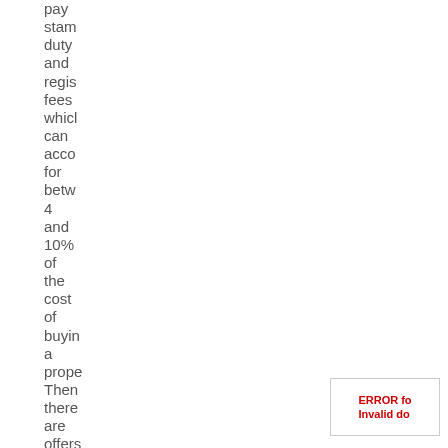pay stamp duty and registration fees which can account for between 4 and 10% of the cost of buying a property. Then there are offers to pay
ERROR fo Invalid do